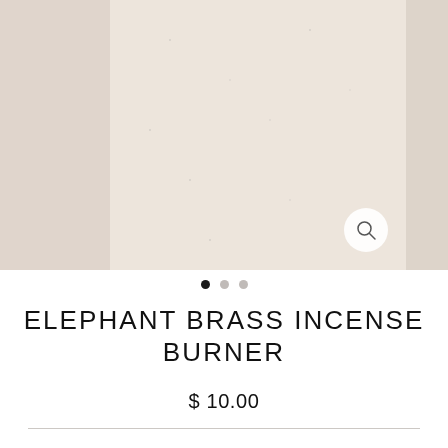[Figure (photo): Product image carousel showing a beige/cream textured surface (top portion of an incense burner product photo). The center image is flanked by partial images on both sides. A circular magnify/search icon is visible in the lower right of the center image.]
[Figure (other): Image carousel navigation dots: three dots where the first (leftmost) is filled black and the other two are gray.]
ELEPHANT BRASS INCENSE BURNER
$ 10.00
In stock, ready to ship
ADD TO CART